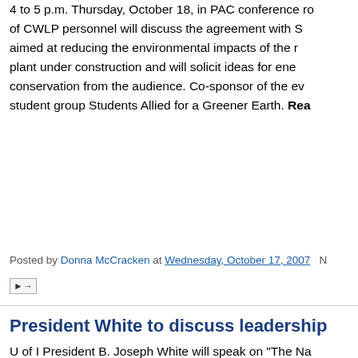4 to 5 p.m. Thursday, October 18, in PAC conference r of CWLP personnel will discuss the agreement with S aimed at reducing the environmental impacts of the r plant under construction and will solicit ideas for ene conservation from the audience. Co-sponsor of the ev student group Students Allied for a Greener Earth. Rea
Posted by Donna McCracken at Wednesday, October 17, 2007  N
President White to discuss leadership
U of I President B. Joseph White will speak on "The Na Leadership," at 7 p.m. Thursday, November 1, in Brooke Dr. White will share insights about leadership gained experience both in academia and in the private secto